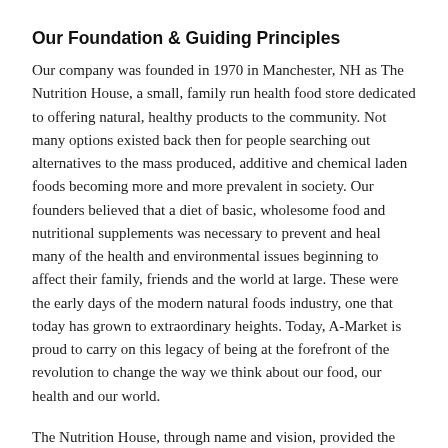Our Foundation & Guiding Principles
Our company was founded in 1970 in Manchester, NH as The Nutrition House, a small, family run health food store dedicated to offering natural, healthy products to the community. Not many options existed back then for people searching out alternatives to the mass produced, additive and chemical laden foods becoming more and more prevalent in society. Our founders believed that a diet of basic, wholesome food and nutritional supplements was necessary to prevent and heal many of the health and environmental issues beginning to affect their family, friends and the world at large. These were the early days of the modern natural foods industry, one that today has grown to extraordinary heights. Today, A-Market is proud to carry on this legacy of being at the forefront of the revolution to change the way we think about our food, our health and our world.
The Nutrition House, through name and vision, provided the foundation for the current day A-Market. The four walls of that